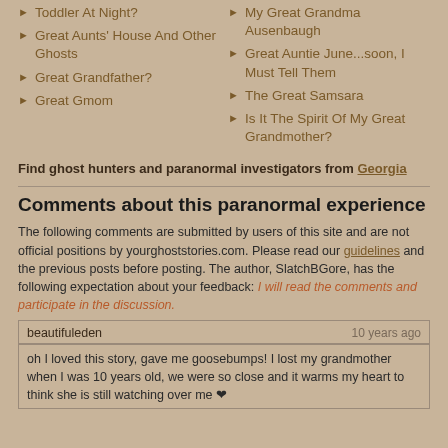Toddler At Night?
Great Aunts' House And Other Ghosts
Great Grandfather?
Great Gmom
My Great Grandma Ausenbaugh
Great Auntie June...soon, I Must Tell Them
The Great Samsara
Is It The Spirit Of My Great Grandmother?
Find ghost hunters and paranormal investigators from Georgia
Comments about this paranormal experience
The following comments are submitted by users of this site and are not official positions by yourghoststories.com. Please read our guidelines and the previous posts before posting. The author, SlatchBGore, has the following expectation about your feedback: I will read the comments and participate in the discussion.
beautifuleden
10 years ago
oh I loved this story, gave me goosebumps! I lost my grandmother when I was 10 years old, we were so close and it warms my heart to think she is still watching over me ❤